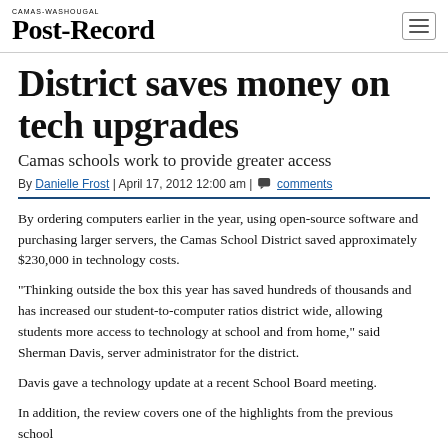CAMAS-WASHOUGAL POST-RECORD
District saves money on tech upgrades
Camas schools work to provide greater access
By Danielle Frost | April 17, 2012 12:00 am | comments
By ordering computers earlier in the year, using open-source software and purchasing larger servers, the Camas School District saved approximately $230,000 in technology costs.
“Thinking outside the box this year has saved hundreds of thousands and has increased our student-to-computer ratios district wide, allowing students more access to technology at school and from home,” said Sherman Davis, server administrator for the district.
Davis gave a technology update at a recent School Board meeting.
In addition, the review covers one of the highlights from the previous school